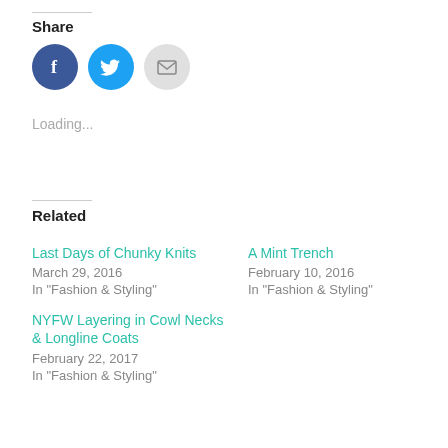Share
[Figure (other): Three social share icon buttons: Facebook (blue circle with 'f' icon), Twitter (light blue circle with bird icon), Email (light gray circle with envelope icon)]
Loading...
Related
Last Days of Chunky Knits
March 29, 2016
In "Fashion & Styling"
A Mint Trench
February 10, 2016
In "Fashion & Styling"
NYFW Layering in Cowl Necks & Longline Coats
February 22, 2017
In "Fashion & Styling"